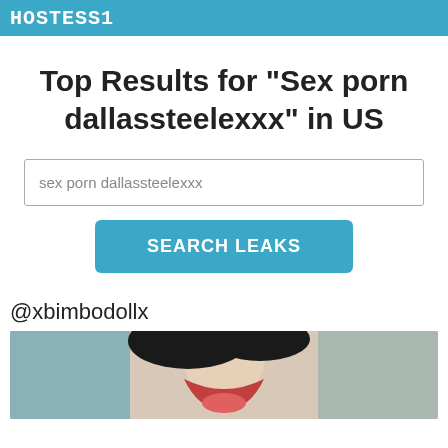HOSTESS1
Top Results for "Sex porn dallassteelexxx" in US
sex porn dallassteelexxx
SEARCH LEAKS
@xbimbodollx
[Figure (photo): Photo of a woman with dark hair, mouth open and tongue out, smiling]